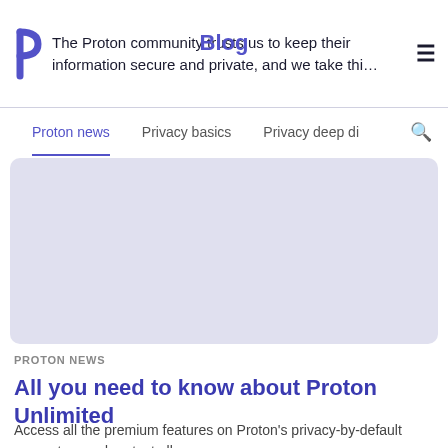The Proton community trusts us to keep their information secure and private, and we take thi…
Blog
Proton news   Privacy basics   Privacy deep di…
[Figure (illustration): Light purple/lavender rectangular placeholder image with rounded corners, representing a featured blog article image.]
PROTON NEWS
All you need to know about Proton Unlimited
Access all the premium features on Proton's privacy-by-default ecosystem and protect all…